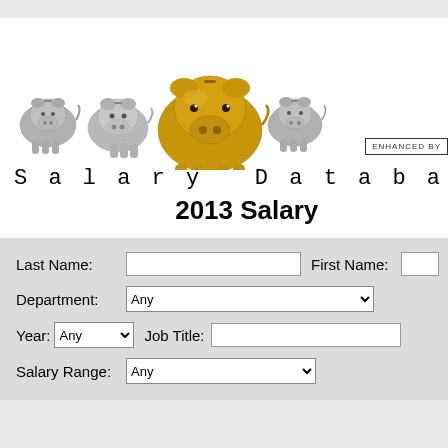[Figure (illustration): Four piggy banks arranged in a row: three silver/gray piggy banks and one large gold piggy bank in the center-front position]
Salary Database
2013 Salary
Last Name: [text input]  First Name: [text input]
Department: Any [dropdown]
Year: Any [dropdown]  Job Title: [text input]
Salary Range: Any [dropdown]